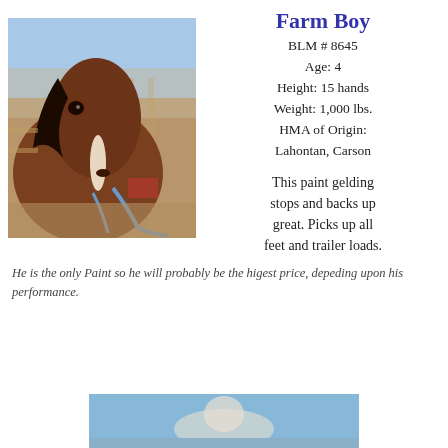Farm Boy
BLM # 8645
Age: 4
Height: 15 hands
Weight: 1,000 lbs.
HMA of Origin: Lahontan, Carson
[Figure (photo): Close-up photo of a bay horse with a blaze, wearing a blue lead rope, in a corral setting]
This paint gelding stops and backs up great. Picks up all feet and trailer loads.
He is the only Paint so he will probably be the higest price, depeding upon his performance.
[Figure (photo): Partial photo at bottom of page, appears to show another animal or scene with blue background]